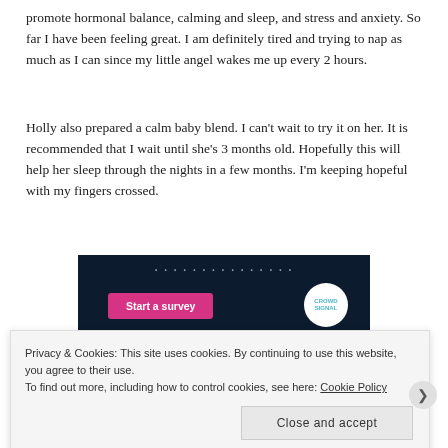promote hormonal balance, calming and sleep, and stress and anxiety. So far I have been feeling great. I am definitely tired and trying to nap as much as I can since my little angel wakes me up every 2 hours.
Holly also prepared a calm baby blend. I can't wait to try it on her. It is recommended that I wait until she's 3 months old. Hopefully this will help her sleep through the nights in a few months. I'm keeping hopeful with my fingers crossed.
[Figure (screenshot): Dark navy background image with 'Start a survey' pink button and Crowd Signal logo (white circle with teal text) on the right.]
Privacy & Cookies: This site uses cookies. By continuing to use this website, you agree to their use.
To find out more, including how to control cookies, see here: Cookie Policy
Close and accept